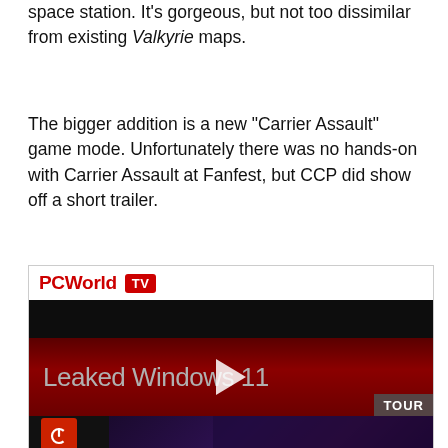space station. It’s gorgeous, but not too dissimilar from existing Valkyrie maps.
The bigger addition is a new “Carrier Assault” game mode. Unfortunately there was no hands-on with Carrier Assault at Fanfest, but CCP did show off a short trailer.
[Figure (screenshot): PCWorld TV video thumbnail showing 'Leaked Windows 11 Tour' video with play button, red background band, and Windows 11 Start menu preview at bottom]